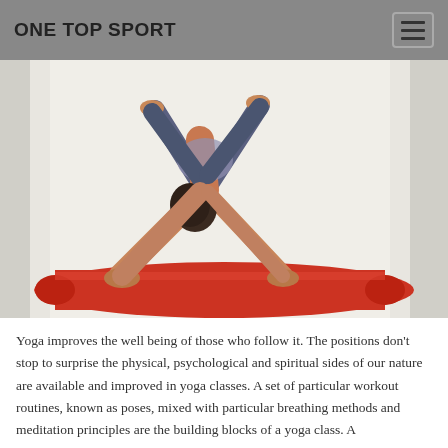ONE TOP SPORT
[Figure (photo): Person performing a downward-facing dog yoga pose on a red yoga mat against a light background]
Yoga improves the well being of those who follow it. The positions don't stop to surprise the physical, psychological and spiritual sides of our nature are available and improved in yoga classes. A set of particular workout routines, known as poses, mixed with particular breathing methods and meditation principles are the building blocks of a yoga class. A